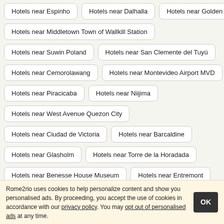Hotels near Espinho
Hotels near Dalhalla
Hotels near Golden
Hotels near Middletown Town of Wallkill Station
Hotels near Suwin Poland
Hotels near San Clemente del Tuyú
Hotels near Cemorolawang
Hotels near Montevideo Airport MVD
Hotels near Piracicaba
Hotels near Niijima
Hotels near West Avenue Quezon City
Hotels near Ciudad de Victoria
Hotels near Barcaldine
Hotels near Glasholm
Hotels near Torre de la Horadada
Hotels near Benesse House Museum
Hotels near Entremont
Rome2rio uses cookies to help personalize content and show you personalised ads. By proceeding, you accept the use of cookies in accordance with our privacy policy. You may opt out of personalised ads at any time.